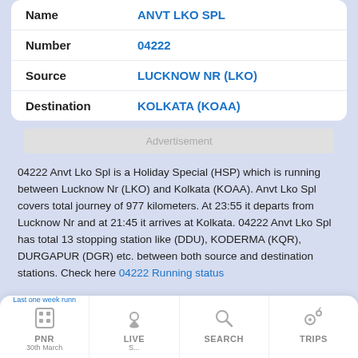| Field | Value |
| --- | --- |
| Name | ANVT LKO SPL |
| Number | 04222 |
| Source | LUCKNOW NR (LKO) |
| Destination | KOLKATA (KOAA) |
Advertisement
04222 Anvt Lko Spl is a Holiday Special (HSP) which is running between Lucknow Nr (LKO) and Kolkata (KOAA). Anvt Lko Spl covers total journey of 977 kilometers. At 23:55 it departs from Lucknow Nr and at 21:45 it arrives at Kolkata. 04222 Anvt Lko Spl has total 13 stopping station like (DDU), KODERMA (KQR), DURGAPUR (DGR) etc. between both source and destination stations. Check here 04222 Running status
[Figure (screenshot): Bottom navigation bar with PNR, LIVE, SEARCH, TRIPS icons and overlay text about 1 week running status of ANVT LKO SPL]